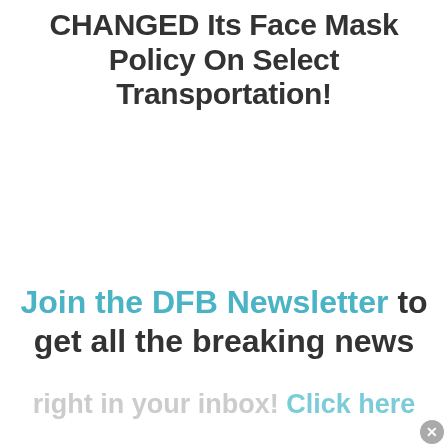CHANGED Its Face Mask Policy On Select Transportation!
Join the DFB Newsletter to get all the breaking news
right in your inbox! Click here